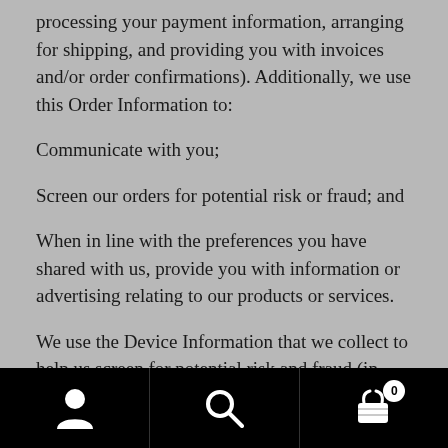processing your payment information, arranging for shipping, and providing you with invoices and/or order confirmations). Additionally, we use this Order Information to:
Communicate with you;
Screen our orders for potential risk or fraud; and
When in line with the preferences you have shared with us, provide you with information or advertising relating to our products or services.
We use the Device Information that we collect to help us screen for potential risk and fraud (in particular, your IP address), and more generally to improve and optimize our
Navigation bar with user, search, and cart (0) icons